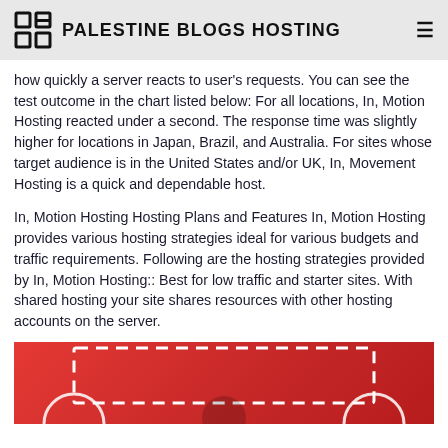PALESTINE BLOGS HOSTING
how quickly a server reacts to user's requests. You can see the test outcome in the chart listed below: For all locations, In, Motion Hosting reacted under a second. The response time was slightly higher for locations in Japan, Brazil, and Australia. For sites whose target audience is in the United States and/or UK, In, Movement Hosting is a quick and dependable host.
In, Motion Hosting Hosting Plans and Features In, Motion Hosting provides various hosting strategies ideal for various budgets and traffic requirements. Following are the hosting strategies provided by In, Motion Hosting:: Best for low traffic and starter sites. With shared hosting your site shares resources with other hosting accounts on the server.
[Figure (illustration): Red background with white dashed rectangle border and partial circular icon elements at the bottom of the page]